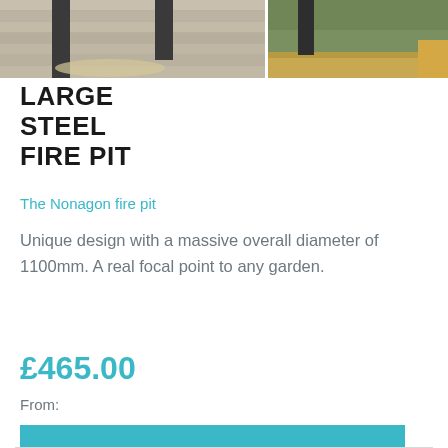[Figure (photo): Top portion of a large steel fire pit product photo showing metal poles/legs on a wooden decking surface, split across two image panels]
LARGE STEEL FIRE PIT
The Nonagon fire pit
Unique design with a massive overall diameter of 1100mm. A real focal point to any garden.
£465.00
From:
View Now